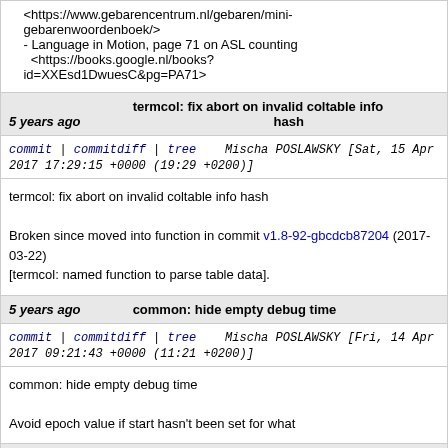<https://www.gebarencentrum.nl/gebaren/mini-gebarenwoordenboek/>
- Language in Motion, page 71 on ASL counting <https://books.google.nl/books?id=XXEsd1DwuesC&pg=PA71>
5 years ago   termcol: fix abort on invalid coltable info hash
commit | commitdiff | tree   Mischa POSLAWSKY [Sat, 15 Apr 2017 17:29:15 +0000 (19:29 +0200)]
termcol: fix abort on invalid coltable info hash

Broken since moved into function in commit v1.8-92-gbcdcb87204 (2017-03-22)
[termcol: named function to parse table data].
5 years ago   common: hide empty debug time
commit | commitdiff | tree   Mischa POSLAWSKY [Fri, 14 Apr 2017 09:21:43 +0000 (11:21 +0200)]
common: hide empty debug time

Avoid epoch value if start hasn't been set for what
5 years ago   latin: middle-align all except tap codes